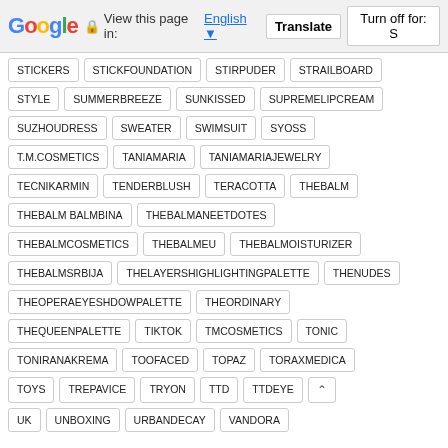Google — View this page in: English [Translate] [Turn off for: S]
STICKERS
STICKFOUNDATION
STIRPUDER
STRAILBOARD
STYLE
SUMMERBREEZE
SUNKISSED
SUPREMELIPCREAM
SUZHOUDRESS
SWEATER
SWIMSUIT
SYOSS
T.M.COSMETICS
TANIAMARIA
TANIAMARIAJEWELRY
TECNIKARMIN
TENDERBLUSH
TERACOTTA
THEBALM
THEBALM BALMBINA
THEBALMANEETDOTES
THEBALMCOSMETICS
THEBALMEU
THEBALMOISTURIZER
THEBALMSRBIJA
THELAYERSHIGHLIGHTINGPALETTE
THENUDES
THEOPERAEYESHDOWPALETTE
THEORDINARY
THEQUEENPALETTE
TIKTOK
TMCOSMETICS
TONIC
TONIRANAKREMA
TOOFACED
TOPAZ
TORAXMEDICA
TOYS
TREPAVICE
TRYON
TTD
TTDEYE
UK
UNBOXING
URBANDECAY
VANDORA